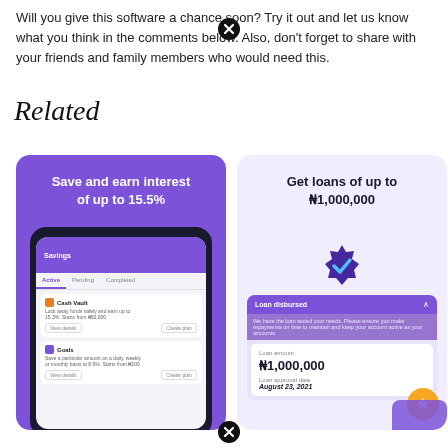Will you give this software a chance soon? Try it out and let us know what you think in the comments below. Also, don't forget to share with your friends and family members who would need this.
Related
[Figure (screenshot): Mobile app screenshot showing savings feature with text 'Save and earn interest of up to 15.5%' on purple background with a phone screen showing savings dashboard with Cash Vault and Goals sections]
[Figure (screenshot): App screenshot showing loan feature with text 'Get loans of up to ₦1,000,000' on light purple background with a verified badge and loan disbursed card showing ₦1,000,000 with approval date August 23, 2021]